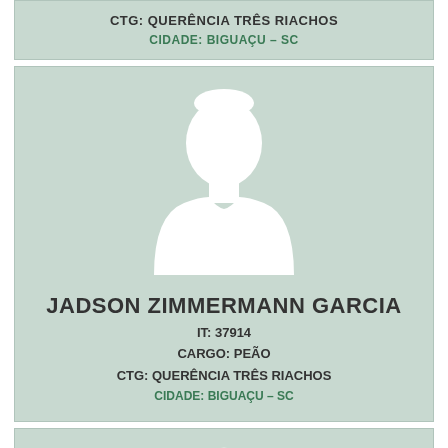CTG: QUERÊNCIA TRÊS RIACHOS
CIDADE: BIGUAÇU – SC
[Figure (illustration): Placeholder silhouette of a person (head and shoulders) in white on light green background]
JADSON ZIMMERMANN GARCIA
IT: 37914
CARGO: PEÃO
CTG: QUERÊNCIA TRÊS RIACHOS
CIDADE: BIGUAÇU – SC
[Figure (illustration): Placeholder silhouette of a person (head and shoulders) in white on light green background, partially visible at bottom]